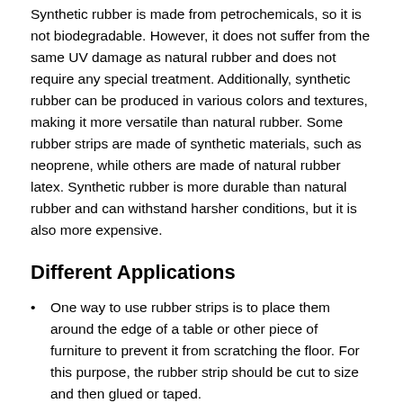Synthetic rubber is made from petrochemicals, so it is not biodegradable. However, it does not suffer from the same UV damage as natural rubber and does not require any special treatment. Additionally, synthetic rubber can be produced in various colors and textures, making it more versatile than natural rubber. Some rubber strips are made of synthetic materials, such as neoprene, while others are made of natural rubber latex. Synthetic rubber is more durable than natural rubber and can withstand harsher conditions, but it is also more expensive.
Different Applications
One way to use rubber strips is to place them around the edge of a table or other piece of furniture to prevent it from scratching the floor. For this purpose, the rubber strip should be cut to size and then glued or taped.
Another way to use rubber strips is as a sealant. For example, if you have a gap between your door and